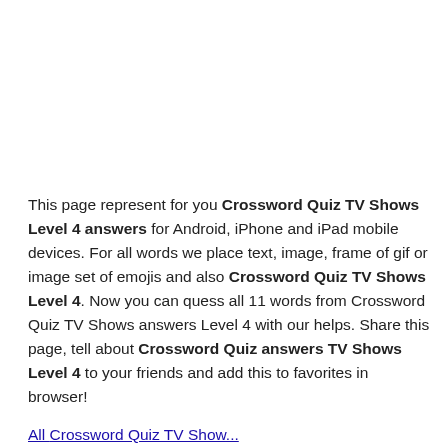This page represent for you Crossword Quiz TV Shows Level 4 answers for Android, iPhone and iPad mobile devices. For all words we place text, image, frame of gif or image set of emojis and also Crossword Quiz TV Shows Level 4. Now you can quess all 11 words from Crossword Quiz TV Shows answers Level 4 with our helps. Share this page, tell about Crossword Quiz answers TV Shows Level 4 to your friends and add this to favorites in browser!
All Crossword Quiz TV Shows...